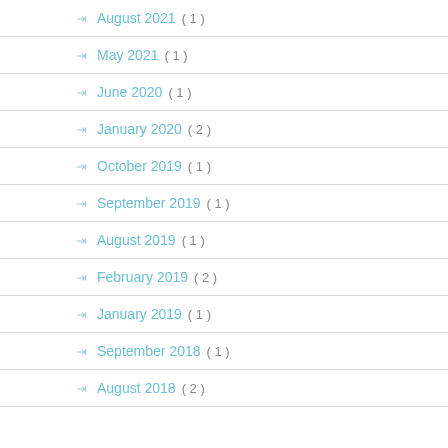August 2021 ( 1 )
May 2021 ( 1 )
June 2020 ( 1 )
January 2020 ( 2 )
October 2019 ( 1 )
September 2019 ( 1 )
August 2019 ( 1 )
February 2019 ( 2 )
January 2019 ( 1 )
September 2018 ( 1 )
August 2018 ( 2 )